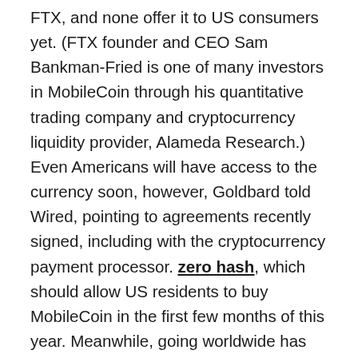FTX, and none offer it to US consumers yet. (FTX founder and CEO Sam Bankman-Fried is one of many investors in MobileCoin through his quantitative trading company and cryptocurrency liquidity provider, Alameda Research.) Even Americans will have access to the currency soon, however, Goldbard told Wired, pointing to agreements recently signed, including with the cryptocurrency payment processor. zero hash, which should allow US residents to buy MobileCoin in the first few months of this year. Meanwhile, going worldwide has been good for MobileCoin, which last summer raised $66 million in Series B funding at a valuation of $1.066 billion and, according to sources close to the company, is in the process. to lift a Series C round in an appraisal. which one source describes as “in the high single-digit billions” of dollars. MobileCoin’s growth has also raised questions about Signal and about Marlinspike, who apparently tried to keep some distance between himself and MobileCoin. One apparent